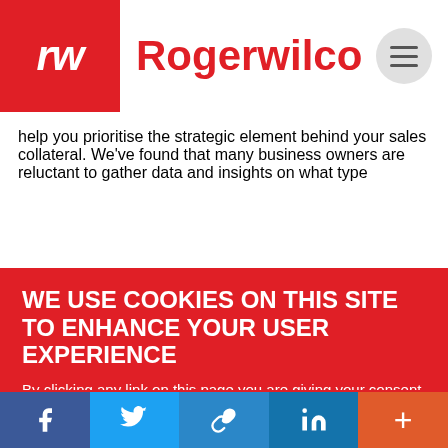rw Rogerwilco
help you prioritise the strategic element behind your sales collateral. We've found that many business owners are reluctant to gather data and insights on what type
WE USE COOKIES ON THIS SITE TO ENHANCE YOUR USER EXPERIENCE
By clicking any link on this page you are giving your consent for us to set cookies, More info.
PREFERENCES → Yes, I Accept